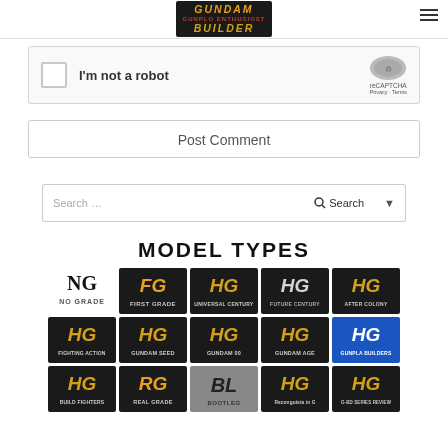GUNDAM BUILDER - Gunpla Enthusiast
[Figure (screenshot): reCAPTCHA widget with checkbox and 'I'm not a robot' label]
[Figure (screenshot): Post Comment button]
[Figure (screenshot): Search bar with search input, Search button, and dropdown arrow]
MODEL TYPES
[Figure (infographic): Grid of Gundam model type logos: Row 1: NG No Grade, FG First Grade, HG Universal Century, HG Future Century, HG After Colony. Row 2: HG Fighting Action, HG Gundam Seed, HG Gundam 00, HG Gundam Age, HG Gunpla Builders. Row 3: HG Build Fighters, RG Real Grade, BL Bootleg, HG Reconguista in G, HG (last label)]